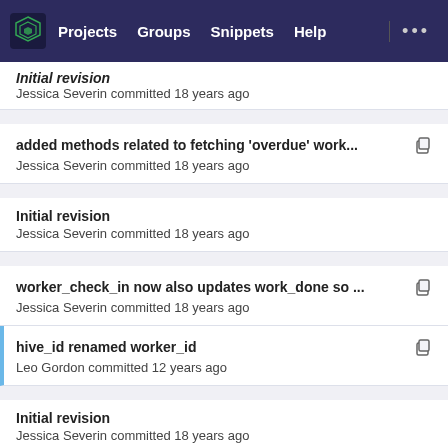Projects  Groups  Snippets  Help
Initial revision
Jessica Severin committed 18 years ago
added methods related to fetching 'overdue' work...
Jessica Severin committed 18 years ago
Initial revision
Jessica Severin committed 18 years ago
worker_check_in now also updates work_done so ...
Jessica Severin committed 18 years ago
hive_id renamed worker_id
Leo Gordon committed 12 years ago
Initial revision
Jessica Severin committed 18 years ago
refactored synchronization logic to allow for work...